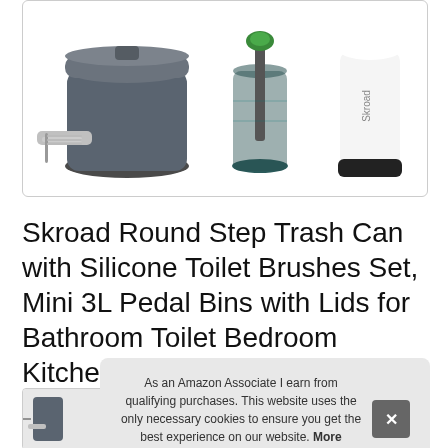[Figure (photo): Product photo showing a dark gray round step trash can with a chrome foot pedal on the left, and two cylindrical toilet brush holders (one transparent with a green-tipped brush, one white with Skroad branding) on the right, against a white background with a light gray border box.]
Skroad Round Step Trash Can with Silicone Toilet Brushes Set, Mini 3L Pedal Bins with Lids for Bathroom Toilet Bedroom Kitchen
[Figure (photo): Small thumbnail image of the product partially visible at bottom left.]
As an Amazon Associate I earn from qualifying purchases. This website uses the only necessary cookies to ensure you get the best experience on our website. More information